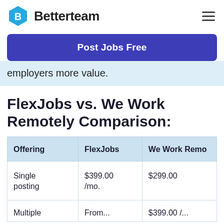Betterteam
Post Jobs Free
employers more value.
FlexJobs vs. We Work Remotely Comparison:
| Offering | FlexJobs | We Work Remotely |
| --- | --- | --- |
| Single posting | $399.00 /mo. | $299.00 |
| Multiple | From... | $399.00 /... |